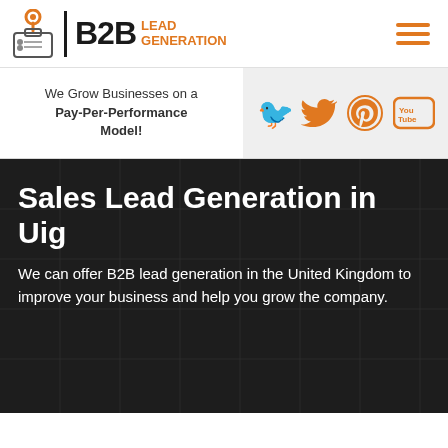[Figure (logo): B2B Lead Generation logo with location pin icon, vertical divider, bold B2B text and orange LEAD GENERATION text]
[Figure (infographic): Hamburger menu icon with three orange horizontal lines]
We Grow Businesses on a Pay-Per-Performance Model!
[Figure (infographic): Social media icons: Twitter, Pinterest, YouTube, Tumblr in orange on grey background]
Sales Lead Generation in Uig
We can offer B2B lead generation in the United Kingdom to improve your business and help you grow the company.